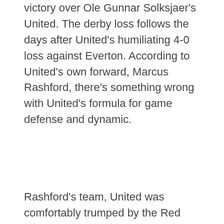victory over Ole Gunnar Solksjaer's United. The derby loss follows the days after United's humiliating 4-0 loss against Everton. According to United's own forward, Marcus Rashford, there's something wrong with United's formula for game defense and dynamic.
Rashford's team, United was comfortably trumped by the Red Devils Wednesday night, with midfielder